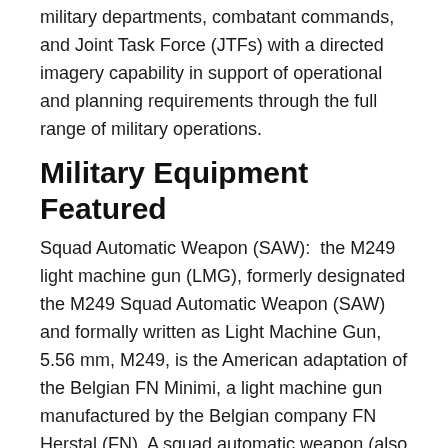military departments, combatant commands, and Joint Task Force (JTFs) with a directed imagery capability in support of operational and planning requirements through the full range of military operations.
Military Equipment Featured
Squad Automatic Weapon (SAW):  the M249 light machine gun (LMG), formerly designated the M249 Squad Automatic Weapon (SAW) and formally written as Light Machine Gun, 5.56 mm, M249, is the American adaptation of the Belgian FN Minimi, a light machine gun manufactured by the Belgian company FN Herstal (FN). A squad automatic weapon (also section automatic weapon; light support weapon) is a fully automatic firearm used to give infantry squads or sections a man-portable source of fully automatic